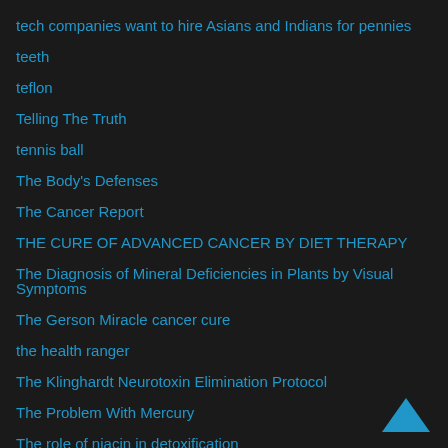tech companies want to hire Asians and Indians for pennies
teeth
teflon
Telling The Truth
tennis ball
The Body's Defenses
The Cancer Report
THE CURE OF ADVANCED CANCER BY DIET THERAPY
The Diagnosis of Mineral Deficiencies in Plants by Visual Symptoms
The Gerson Miracle cancer cure
the health ranger
The Klinghardt Neurotoxin Elimination Protocol
The Problem With Mercury
The role of niacin in detoxification